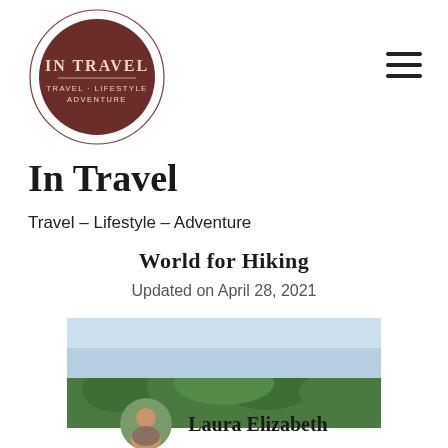[Figure (logo): In Travel blog logo: dark brown circle with thin circular outline, text 'IN TRAVEL' and 'TRAVEL · LIFESTYLE ADVENTURE' in cream/light color]
In Travel
Travel – Lifestyle – Adventure
World for Hiking
Updated on April 28, 2021
[Figure (photo): Landscape photo showing forested rocky hills or mountains under a blue sky]
Laura Elizabeth